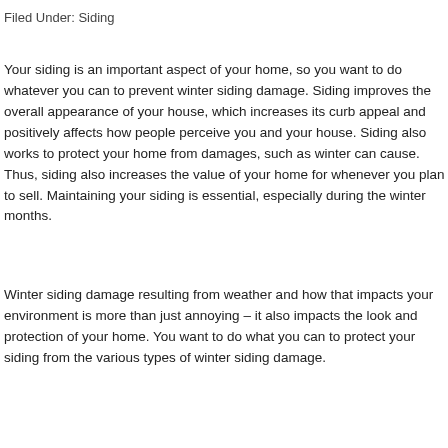Filed Under: Siding
Your siding is an important aspect of your home, so you want to do whatever you can to prevent winter siding damage. Siding improves the overall appearance of your house, which increases its curb appeal and positively affects how people perceive you and your house. Siding also works to protect your home from damages, such as winter can cause. Thus, siding also increases the value of your home for whenever you plan to sell. Maintaining your siding is essential, especially during the winter months.
Winter siding damage resulting from weather and how that impacts your environment is more than just annoying – it also impacts the look and protection of your home. You want to do what you can to protect your siding from the various types of winter siding damage.